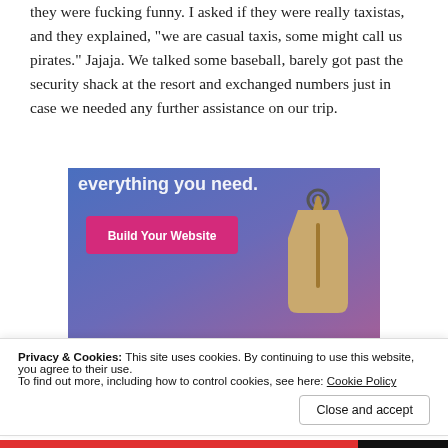they were fucking funny. I asked if they were really taxistas, and they explained, “we are casual taxis, some might call us pirates.” Jajaja. We talked some baseball, barely got past the security shack at the resort and exchanged numbers just in case we needed any further assistance on our trip.
[Figure (screenshot): Advertisement banner with blue-to-purple gradient background, white text 'everything you need.', a pink/magenta 'Build Your Website' button, and a tan/beige luggage tag graphic on the right.]
Privacy & Cookies: This site uses cookies. By continuing to use this website, you agree to their use.
To find out more, including how to control cookies, see here: Cookie Policy
Close and accept